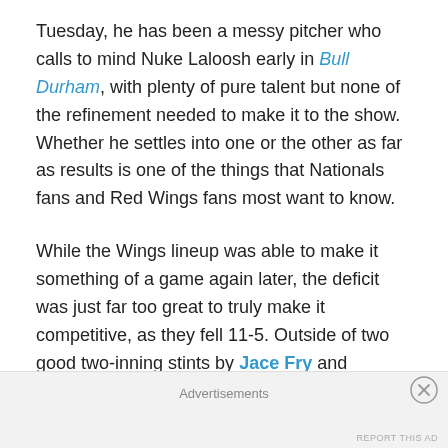Tuesday, he has been a messy pitcher who calls to mind Nuke Laloosh early in Bull Durham, with plenty of pure talent but none of the refinement needed to make it to the show. Whether he settles into one or the other as far as results is one of the things that Nationals fans and Red Wings fans most want to know.
While the Wings lineup was able to make it something of a game again later, the deficit was just far too great to truly make it competitive, as they fell 11-5. Outside of two good two-inning stints by Jace Fry and Andres Machado, the pitching just couldn't hold off the IronPigs enough to allow for another comeback.
Advertisements